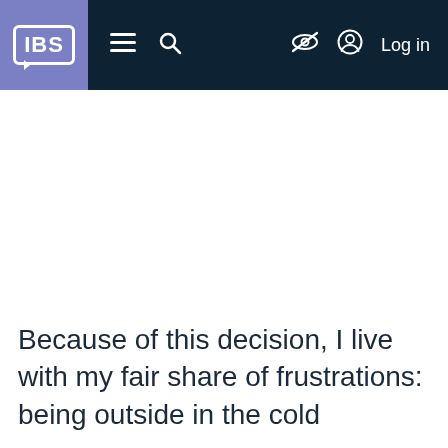IBS ≡ 🔍 🚫👁 👤 Log in
Because of this decision, I live with my fair share of frustrations: being outside in the cold